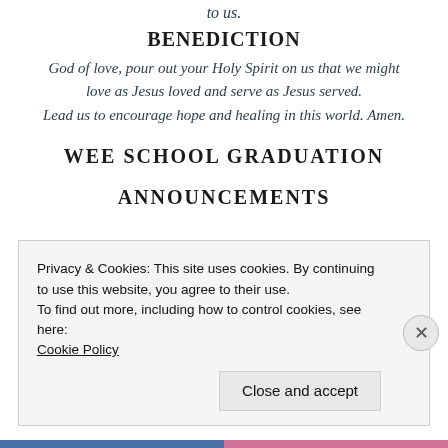to us.
BENEDICTION
God of love, pour out your Holy Spirit on us that we might love as Jesus loved and serve as Jesus served. Lead us to encourage hope and healing in this world. Amen.
WEE SCHOOL GRADUATION
ANNOUNCEMENTS
Privacy & Cookies: This site uses cookies. By continuing to use this website, you agree to their use.
To find out more, including how to control cookies, see here:
Cookie Policy

Close and accept